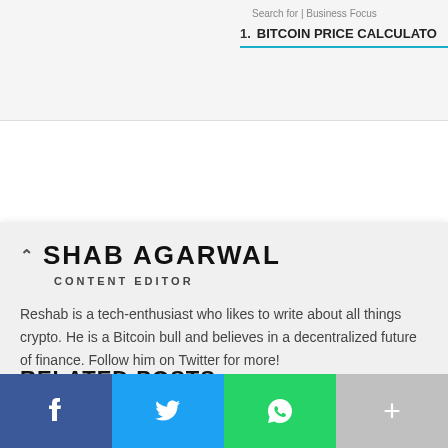Search for | Business Focus
1. BITCOIN PRICE CALCULATO
SHAB AGARWAL
CONTENT EDITOR
Reshab is a tech-enthusiast who likes to write about all things crypto. He is a Bitcoin bull and believes in a decentralized future of finance. Follow him on Twitter for more!
[Figure (other): Twitter bird icon link]
RELATED POSTS
[Figure (other): Partial image strip at bottom of page showing related post thumbnails]
[Figure (other): Social share bar with Facebook, Twitter, WhatsApp, and More buttons]